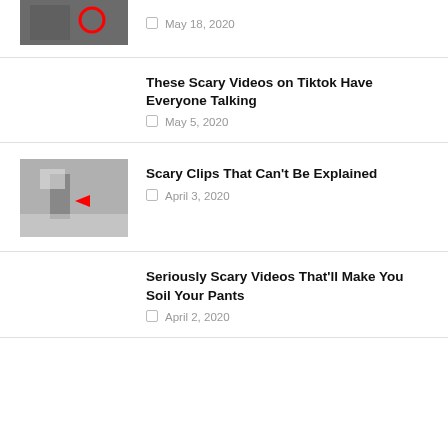[Figure (photo): Thumbnail image with red circle highlight, partially visible at top]
May 18, 2020
These Scary Videos on Tiktok Have Everyone Talking
May 5, 2020
[Figure (photo): Thumbnail showing figure with red arrow on outdoor scene]
Scary Clips That Can't Be Explained
April 3, 2020
Seriously Scary Videos That'll Make You Soil Your Pants
April 2, 2020